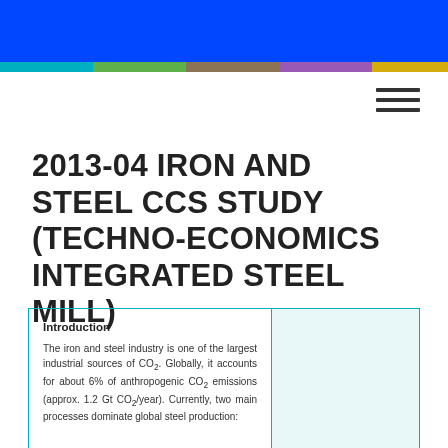2013-04 IRON AND STEEL CCS STUDY (TECHNO-ECONOMICS INTEGRATED STEEL MILL)
Introduction
The iron and steel industry is one of the largest industrial sources of CO₂. Globally, it accounts for about 6% of anthropogenic CO₂ emissions (approx. 1.2 Gt CO₂/year). Currently, two main processes dominate global steel production: